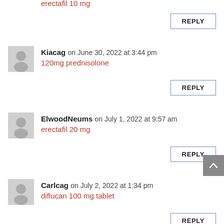erectafil 10 mg
REPLY
Kiacag on June 30, 2022 at 3:44 pm
120mg prednisolone
REPLY
ElwoodNeums on July 1, 2022 at 9:57 am
erectafil 20 mg
REPLY
Carlcag on July 2, 2022 at 1:34 pm
diflucan 100 mg tablet
REPLY